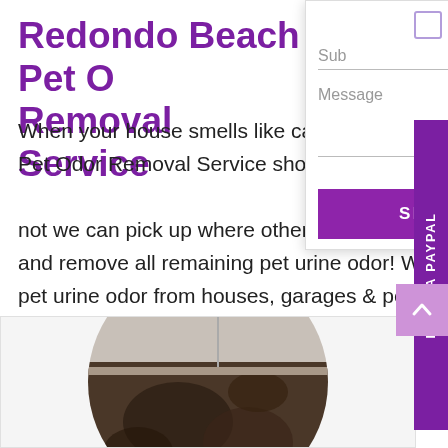Redondo Beach Pet Odor Removal Service
When your house smells like cat urine the Redondo Beach Pet Odor Removal Service should be the first call you make! Believe it or not we can pick up where other products and services have failed and remove all remaining pet urine odor! We permanently remove pet urine odor from houses, garages & pet kennels on a regular basis! We remove old carpet & flooring prep the concrete or subfloors and encapsulate the surfaces to permanently remove any detectable smell of pet odor.
[Figure (screenshot): Contact form overlay with Subject and Message fields and a SEND button]
[Figure (photo): Circular photo showing damaged flooring/concrete subfloor with staining]